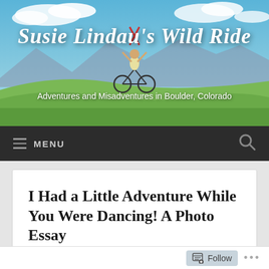[Figure (photo): Blog header image showing a person on a bicycle with skis in Boulder, Colorado with mountains and green fields in the background under a blue sky with clouds]
Susie Lindau's Wild Ride
Adventures and Misadventures in Boulder, Colorado
MENU
I Had a Little Adventure While You Were Dancing! A Photo Essay
Follow ...